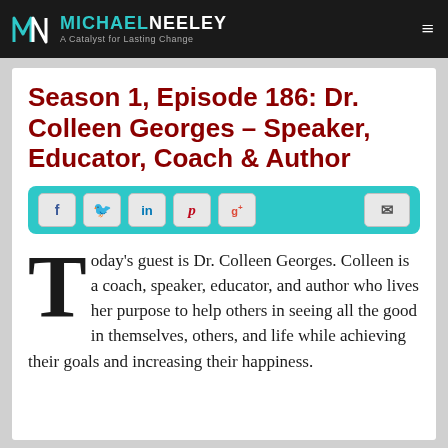MICHAEL NEELEY — A Catalyst for Lasting Change
Season 1, Episode 186: Dr. Colleen Georges – Speaker, Educator, Coach & Author
[Figure (infographic): Social sharing bar with icons for Facebook, Twitter, LinkedIn, Pinterest, Google+, and email on a teal background]
Today's guest is Dr. Colleen Georges. Colleen is a coach, speaker, educator, and author who lives her purpose to help others in seeing all the good in themselves, others, and life while achieving their goals and increasing their happiness.